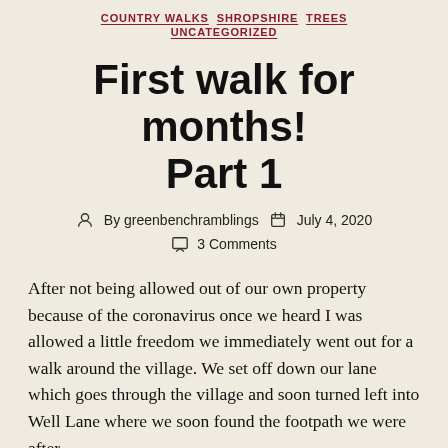COUNTRY WALKS · SHROPSHIRE · TREES · UNCATEGORIZED
First walk for months! Part 1
By greenbenchramblings   July 4, 2020   3 Comments
After not being allowed out of our own property because of the coronavirus once we heard I was allowed a little freedom we immediately went out for a walk around the village. We set off down our lane which goes through the village and soon turned left into Well Lane where we soon found the footpath we were after.
We were delighted to see a puddle, the first we had seen